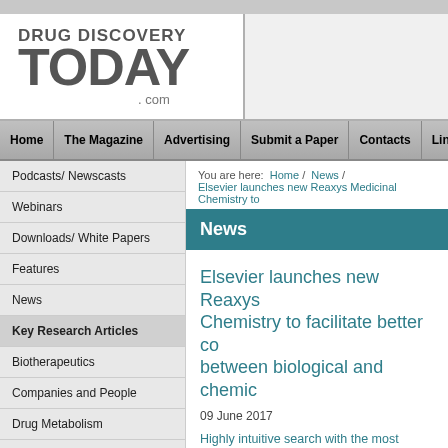[Figure (logo): Drug Discovery Today .com logo in gray bold text]
Home | The Magazine | Advertising | Submit a Paper | Contacts | Links
Podcasts/ Newscasts
Webinars
Downloads/ White Papers
Features
News
Key Research Articles
Biotherapeutics
Companies and People
Drug Metabolism
Drug Trials
You are here: Home / News / Elsevier launches new Reaxys Medicinal Chemistry to
News
Elsevier launches new Reaxys Medicinal Chemistry to facilitate better co between biological and chemic
09 June 2017
Highly intuitive search with the most advan extraction of experimental data available w optimization in early drug discovery